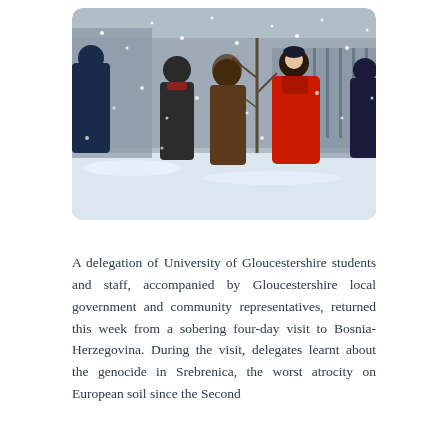[Figure (photo): A group of people standing outdoors in snowy weather. One person wears a red coat, another a brown hooded jacket. They appear to be standing in a snow-covered courtyard or square. Snow is falling visibly.]
A delegation of University of Gloucestershire students and staff, accompanied by Gloucestershire local government and community representatives, returned this week from a sobering four-day visit to Bosnia-Herzegovina. During the visit, delegates learnt about the genocide in Srebrenica, the worst atrocity on European soil since the Second